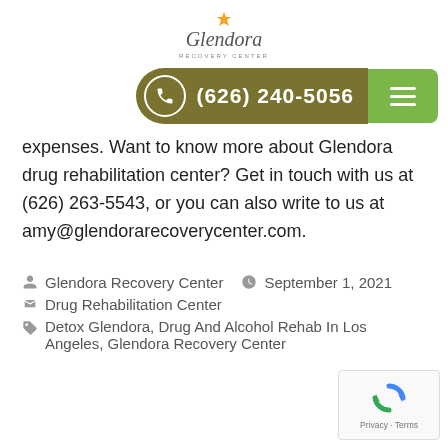[Figure (logo): Glendora Recovery Center logo with stylized sun/star and italic script text]
[Figure (infographic): Phone number bar: olive/khaki pill shape with phone icon circle and number (626) 240-5056, green hamburger menu button on right]
expenses. Want to know more about Glendora drug rehabilitation center? Get in touch with us at (626) 263-5543, or you can also write to us at amy@glendorarecoverycenter.com.
Glendora Recovery Center  September 1, 2021
Drug Rehabilitation Center
Detox Glendora, Drug And Alcohol Rehab In Los Angeles, Glendora Recovery Center